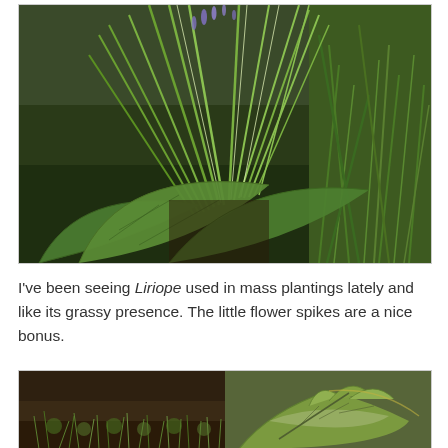[Figure (photo): Close-up photograph of Liriope plant with long narrow grass-like green leaves and small purple flower spikes, surrounded by large hosta leaves and grass in a garden setting.]
I've been seeing Liriope used in mass plantings lately and like its grassy presence. The little flower spikes are a nice bonus.
[Figure (photo): Two-panel photograph showing garden ground cover plants: left panel shows fine-textured low plants on dark soil, right panel shows large lobed leaves of what appears to be a silvery or variegated plant.]